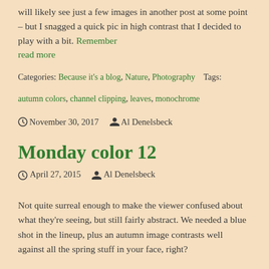will likely see just a few images in another post at some point – but I snagged a quick pic in high contrast that I decided to play with a bit. Remember
read more
Categories: Because it's a blog, Nature, Photography   Tags:
autumn colors, channel clipping, leaves, monochrome
November 30, 2017   Al Denelsbeck
Monday color 12
April 27, 2015   Al Denelsbeck
Not quite surreal enough to make the viewer confused about what they're seeing, but still fairly abstract. We needed a blue shot in the lineup, plus an autumn image contrasts well against all the spring stuff in your face, right?